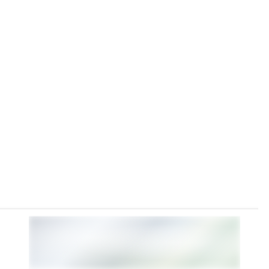Pin on Stuffed Animals & Plush Toys
[Figure (photo): A blurred/bokeh background image, partially visible at the bottom of the page, appearing to show soft light and muted colors consistent with a stuffed animals or plush toys context.]